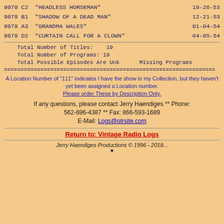9079 C2  "HEADLESS HORSEMAN"   10-26-53
9079 B1  "SHADOW OF A DEAD MAN"   12-21-53
9079 A3  "GRANDMA WALES"   01-04-54
9079 D2  "CURTAIN CALL FOR A CLOWN"   04-05-54
Total Number of Titles:    19
Total Number of Programs: 19
Total Possible Episodes Are Unk      Missing Programs
A Location Number of "111" indicates I have the show in my Collection, but they haven't yet been assigned a Location number. Please order These by Description Only.
If any questions, please contact Jerry Haendiges ** Phone: 562-696-4387 ** Fax: 866-593-1689 E-Mail: Logs@otrsite.com
Return to: Vintage Radio Logs
Jerry Haendiges Productions © 1996 - 2018...